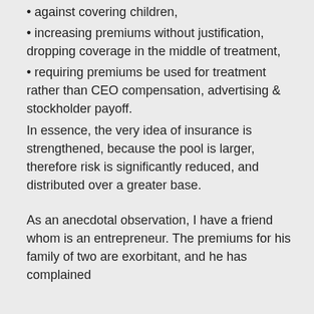• against covering children,
• increasing premiums without justification, dropping coverage in the middle of treatment,
• requiring premiums be used for treatment rather than CEO compensation, advertising & stockholder payoff.
In essence, the very idea of insurance is strengthened, because the pool is larger, therefore risk is significantly reduced, and distributed over a greater base.
As an anecdotal observation, I have a friend whom is an entrepreneur. The premiums for his family of two are exorbitant, and he has complained